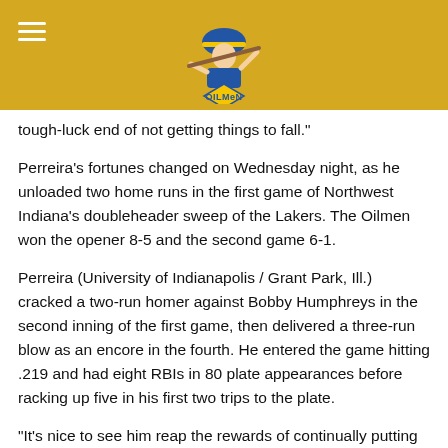Northwest Indiana Oilmen
tough-luck end of not getting things to fall."
Perreira's fortunes changed on Wednesday night, as he unloaded two home runs in the first game of Northwest Indiana's doubleheader sweep of the Lakers. The Oilmen won the opener 8-5 and the second game 6-1.
Perreira (University of Indianapolis / Grant Park, Ill.) cracked a two-run homer against Bobby Humphreys in the second inning of the first game, then delivered a three-run blow as an encore in the fourth. He entered the game hitting .219 and had eight RBIs in 80 plate appearances before racking up five in his first two trips to the plate.
"It's nice to see him reap the rewards of continually putting work in," Enright said. "He's a hard-working kid; I'm glad to see him come out on top."
The Oilmen (16-15) jumped out to a 7-0 lead, but the Lakers (10-18) got back in the game with two in the fifth and two more in the sixth. The